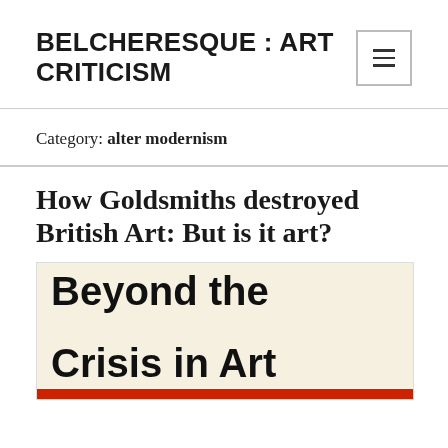BELCHERESQUE : ART CRITICISM
Category: alter modernism
How Goldsmiths destroyed British Art: But is it art?
[Figure (photo): Book cover showing 'Beyond the Crisis in Art' in bold black text on a cream/off-white background with a red bar at the bottom]